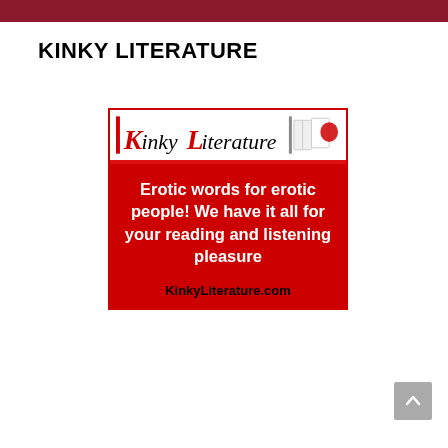KINKY LITERATURE
[Figure (illustration): Kinky Literature advertisement banner with logo header showing 'Kinky Literature' text with K and L in red italic, a book illustration, and a red body section with white bold text reading 'Erotic words for erotic people! We have it all for your reading and listening pleasure' and black bold URL 'KinkyLiterature.com' at the bottom.]